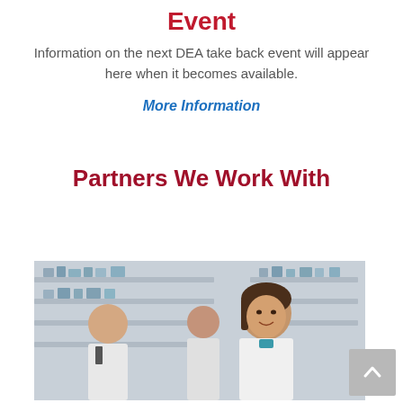Event
Information on the next DEA take back event will appear here when it becomes available.
More Information
Partners We Work With
[Figure (photo): Photo of pharmacy staff in white coats standing in front of pharmacy shelves, featuring a smiling female pharmacist in the foreground]